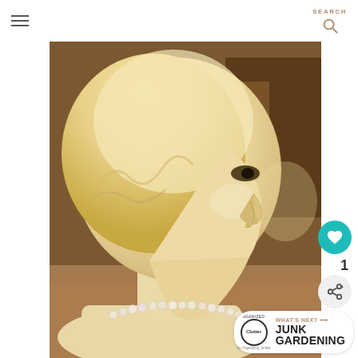SEARCH (with hamburger menu and search icon)
[Figure (photo): Side profile view of a vintage mannequin bust or doll head with blonde/cream colored sculpted hair, facing right, wearing a pearl necklace. The figure has stylized painted features including a dark eye visible in profile. Background shows a wooden furniture piece. The mannequin appears to be ceramic or porcelain. Photographed indoors.]